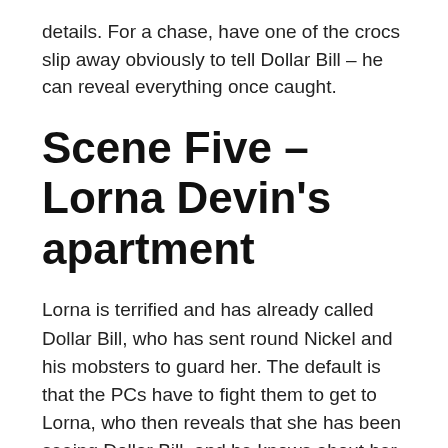details. For a chase, have one of the crocs slip away obviously to tell Dollar Bill – he can reveal everything once caught.
Scene Five – Lorna Devin's apartment
Lorna is terrified and has already called Dollar Bill, who has sent round Nickel and his mobsters to guard her. The default is that the PCs have to fight them to get to Lorna, who then reveals that she has been seeing Dollar Bill, and he knows about her gun, but that she lost it a couple of nights ago and hasn't seen it since. She didn't shoot Vince, but has grown apart from him and is also terrified of Dollar Bill – especially his two lackeys, Nickel and Dime. She tells